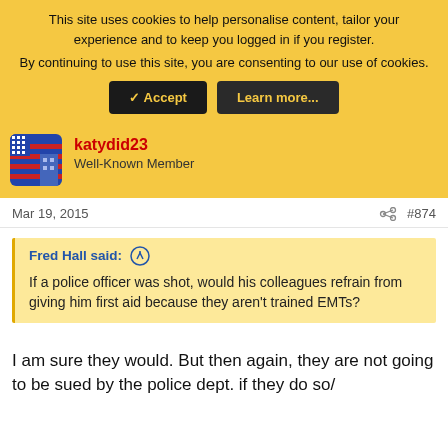This site uses cookies to help personalise content, tailor your experience and to keep you logged in if you register. By continuing to use this site, you are consenting to our use of cookies.
✓ Accept | Learn more...
katydid23
Well-Known Member
Mar 19, 2015
#874
Fred Hall said: ↑
If a police officer was shot, would his colleagues refrain from giving him first aid because they aren't trained EMTs?
I am sure they would. But then again, they are not going to be sued by the police dept. if they do so/